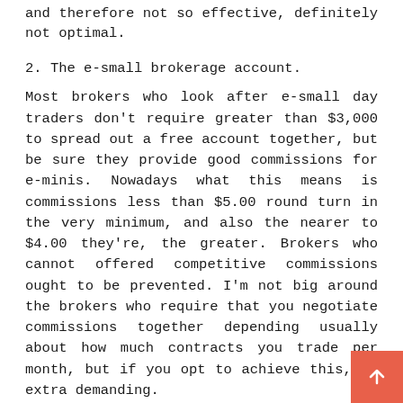and therefore not so effective, definitely not optimal.
2. The e-small brokerage account.
Most brokers who look after e-small day traders don't require greater than $3,000 to spread out a free account together, but be sure they provide good commissions for e-minis. Nowadays what this means is commissions less than $5.00 round turn in the very minimum, and also the nearer to $4.00 they're, the greater. Brokers who cannot offered competitive commissions ought to be prevented. I'm not big around the brokers who require that you negotiate commissions together depending usually about how much contracts you trade per month, but if you opt to achieve this, be extra demanding.